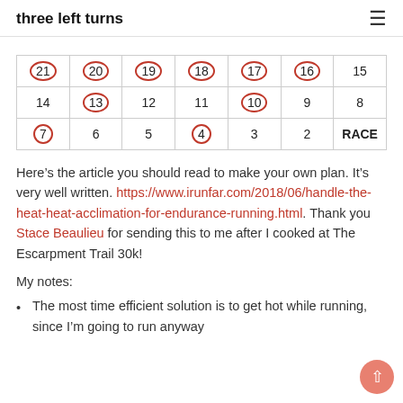three left turns
| 21 (circled) | 20 (circled) | 19 (circled) | 18 (circled) | 17 (circled) | 16 (circled) | 15 |
| 14 | 13 (circled) | 12 | 11 | 10 (circled) | 9 | 8 |
| 7 (circled) | 6 | 5 | 4 (circled) | 3 | 2 | RACE |
Here’s the article you should read to make your own plan. It’s very well written. https://www.irunfar.com/2018/06/handle-the-heat-heat-acclimation-for-endurance-running.html. Thank you Stace Beaulieu for sending this to me after I cooked at The Escarpment Trail 30k!
My notes:
The most time efficient solution is to get hot while running, since I’m going to run anyway